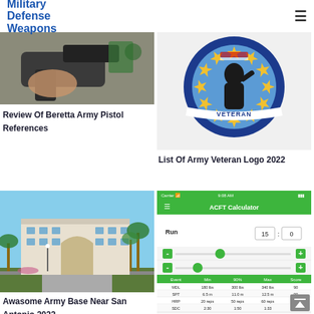Military Defense Weapons
[Figure (photo): Hand holding a black pistol, Beretta army handgun close-up]
Review Of Beretta Army Pistol References
[Figure (logo): Army Veteran circular logo with soldier silhouette and American flag, gold stars on blue background]
List Of Army Veteran Logo 2022
[Figure (photo): Large white hotel-style building at an army base near San Antonio, palm trees in front]
Awasome Army Base Near San Antonio 2022
[Figure (screenshot): ACFT Calculator mobile app screenshot showing Run input with 15:0, sliders, and a table with Event/Min/90%/Max/Score columns showing MDL 180lbs/300lbs/340lbs/90, SPT 6.5m/11.0m/12.5m/90, HRP 20reps/50reps/60reps/90, SDC 2:30/1:50/1:33/90]